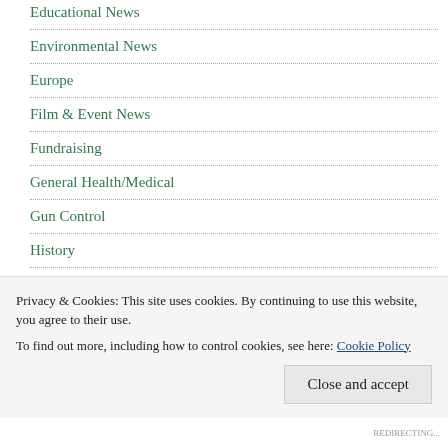Educational News
Environmental News
Europe
Film & Event News
Fundraising
General Health/Medical
Gun Control
History
HIV News
Privacy & Cookies: This site uses cookies. By continuing to use this website, you agree to their use.
To find out more, including how to control cookies, see here: Cookie Policy
Close and accept